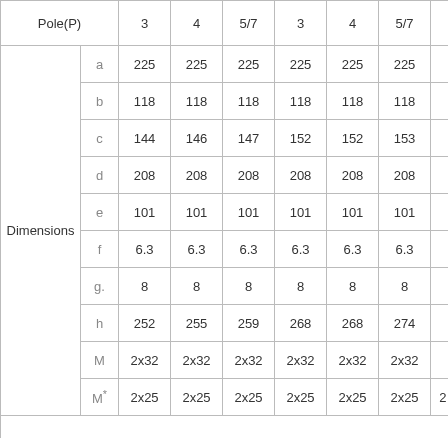|  |  | 3 | 4 | 5/7 | 3 | 4 | 5/7 |  |
| --- | --- | --- | --- | --- | --- | --- | --- | --- |
| Dimensions | a | 225 | 225 | 225 | 225 | 225 | 225 |  |
|  | b | 118 | 118 | 118 | 118 | 118 | 118 |  |
|  | c | 144 | 146 | 147 | 152 | 152 | 153 |  |
|  | d | 208 | 208 | 208 | 208 | 208 | 208 |  |
|  | e | 101 | 101 | 101 | 101 | 101 | 101 |  |
|  | f | 6.3 | 6.3 | 6.3 | 6.3 | 6.3 | 6.3 |  |
|  | g. | 8 | 8 | 8 | 8 | 8 | 8 |  |
|  | h | 252 | 255 | 259 | 268 | 268 | 274 |  |
|  | M | 2x32 | 2x32 | 2x32 | 2x32 | 2x32 | 2x32 |  |
|  | M* | 2x25 | 2x25 | 2x25 | 2x25 | 2x25 | 2x25 | 2 |